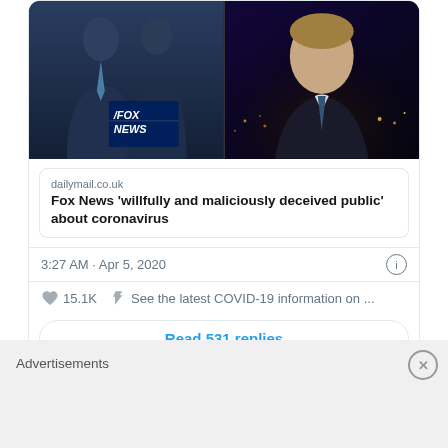[Figure (screenshot): Embedded tweet screenshot showing Fox News imagery on left (two men in suits with Fox News logo) and a TV anchor on right against night city backdrop]
dailymail.co.uk
Fox News 'willfully and maliciously deceived public' about coronavirus
3:27 AM · Apr 5, 2020
15.1K   See the latest COVID-19 information on ...
Read 531 replies
UPDATE 2 (5 April 2020): Fixed Noise subject of lawsuit
Advertisements